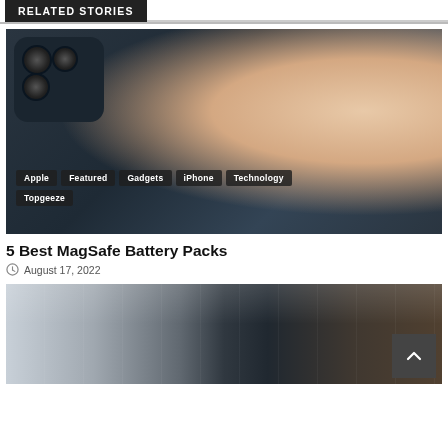RELATED STORIES
[Figure (photo): Hand holding an iPhone with a MagSafe battery pack attached to its back. Tags overlaid at bottom: Apple, Featured, Gadgets, iPhone, Technology, Topgeeze]
5 Best MagSafe Battery Packs
August 17, 2022
[Figure (photo): Partial view of a room interior — dark furniture, window with curtains, wooden surface visible at bottom]